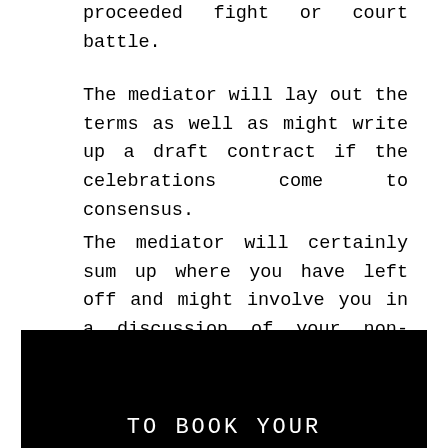proceeded fight or court battle.
The mediator will lay out the terms as well as might write up a draft contract if the celebrations come to consensus.
The mediator will certainly sum up where you have left off and might involve you in a discussion of your non-settlement alternatives if you fail to get to contract.
TO BOOK YOUR